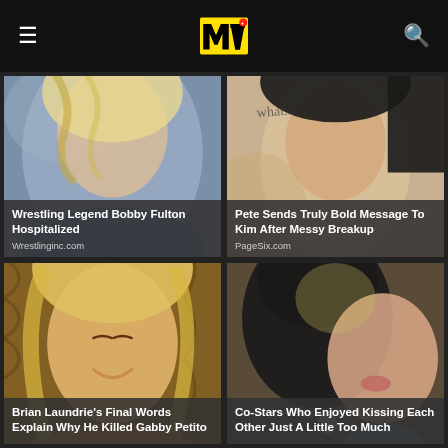MTV
[Figure (photo): Partial face of a blonde woman with blue clothing background — article thumbnail for Wrestling Legend Bobby Fulton Hospitalized]
Wrestling Legend Bobby Fulton Hospitalized
Wrestlinginc.com
[Figure (photo): Partial face of a woman with text 'what...' visible — article thumbnail for Pete Sends Truly Bold Message To Kim After Messy Breakup]
Pete Sends Truly Bold Message To Kim After Messy Breakup
PageSix.com
[Figure (photo): Smiling blonde woman with long hair in front of wood/bark background — article thumbnail for Brian Laundrie's Final Words Explain Why He Killed Gabby Petito]
Brian Laundrie's Final Words Explain Why He Killed Gabby Petito
[Figure (photo): Two people kissing closely — article thumbnail for Co-Stars Who Enjoyed Kissing Each Other Just A Little Too Much]
Co-Stars Who Enjoyed Kissing Each Other Just A Little Too Much